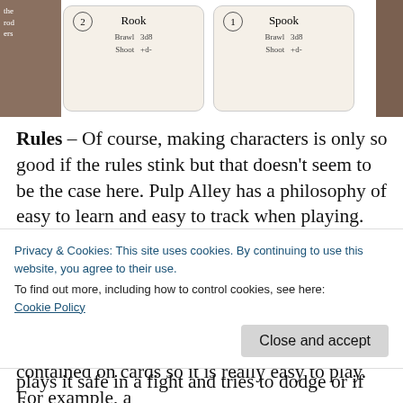[Figure (photo): Partial view of game cards showing Rook and Spook character cards with stats, on a wooden table background. Left side shows a brown strip with text 'the rod ers'. Right side shows a darker strip.]
Rules – Of course, making characters is only so good if the rules stink but that doesn't seem to be the case here. Pulp Alley has a philosophy of easy to learn and easy to track when playing. There are rules for brawling and shooting and also for interacting with story elements. None of this is terribly complicated, especially if you've played a wargame before. Best of all, the stats and abilities for your characters can all be contained on cards so it is really easy to play. For example, a
Privacy & Cookies: This site uses cookies. By continuing to use this website, you agree to their use.
To find out more, including how to control cookies, see here:
Cookie Policy
plays it safe in a fight and tries to dodge or if they